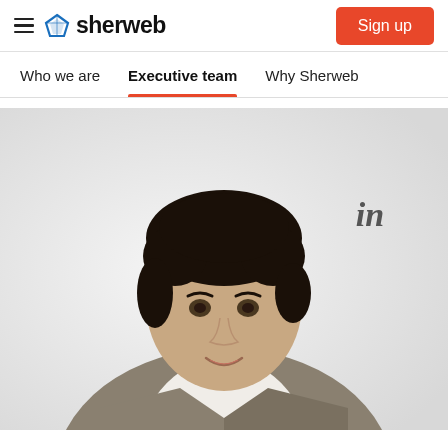sherweb — Sign up
Who we are | Executive team | Why Sherweb
[Figure (photo): Professional headshot of a man in a grey blazer and white shirt, smiling, against a light grey background. LinkedIn icon visible in the upper right area of the photo.]